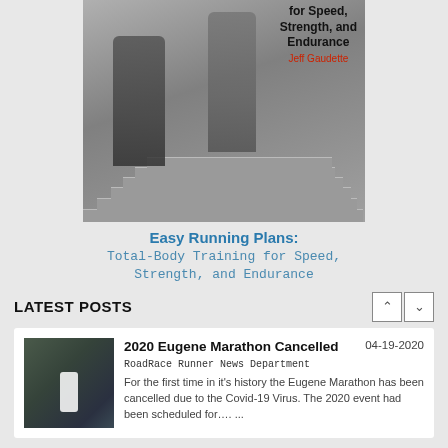[Figure (photo): Book cover image showing two runners climbing stairs from behind, with text overlay 'for Speed, Strength, and Endurance' and author name 'Jeff Gaudette']
Easy Running Plans:
Total-Body Training for Speed,
Strength, and Endurance
LATEST POSTS
[Figure (photo): Photo of a runner in white shirt on a bridge/path with other runners in the background]
2020 Eugene Marathon Cancelled
04-19-2020
RoadRace Runner News Department
For the first time in it's history the Eugene Marathon has been cancelled due to the Covid-19 Virus. The 2020 event had been scheduled for…. ...